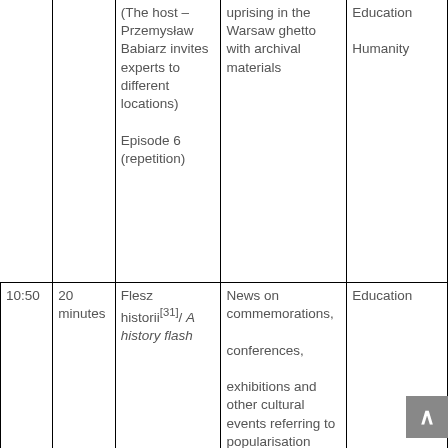| Time | Duration | Programme | Description | Category |
| --- | --- | --- | --- | --- |
|  |  | (The host – Przemysław Babiarz invites experts to different locations)

Episode 6 (repetition) | uprising in the Warsaw ghetto with archival materials | Education

Humanity |
| 10:50 | 20 minutes | Flesz historii[31]/ A history flash | News on commemorations,

conferences,

exhibitions and other cultural events referring to popularisation | Education |